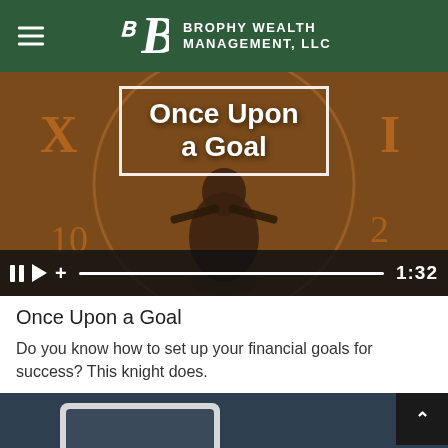Brophy Wealth Management, LLC
[Figure (screenshot): Video thumbnail showing a knight figure in front of a large clock, with the title 'Once Upon a Goal' in white text with a white border overlay. Video controls bar at the bottom showing pause, play, plus icons, a progress bar, and time 1:32.]
Once Upon a Goal
Do you know how to set up your financial goals for success? This knight does.
[Figure (photo): Partial image showing a tablet device on a dark surface, with a back-to-top arrow button in the bottom right corner.]